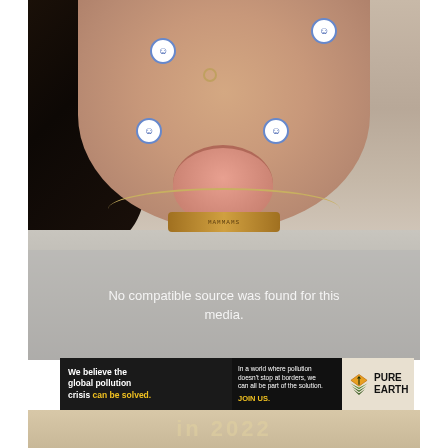[Figure (photo): Selfie photo of a young woman sticking out her tongue with smiley face stickers on her cheeks and forehead. She is wearing a grey sweatshirt and gold name necklace. Background shows dark hair on left, a room with a calendar or poster. A 'No compatible source was found for this media.' video error overlay appears on the lower portion of the image.]
No compatible source was found for this media.
[Figure (infographic): Pure Earth advertisement banner with black background on left: 'We believe the global pollution crisis can be solved.' In the middle: 'In a world where pollution doesn't stop at borders, we can all be part of the solution. JOIN US.' On the right a beige section shows the Pure Earth logo (diamond with arrow icon and stacked green layers) and the text PURE EARTH.]
in 2022